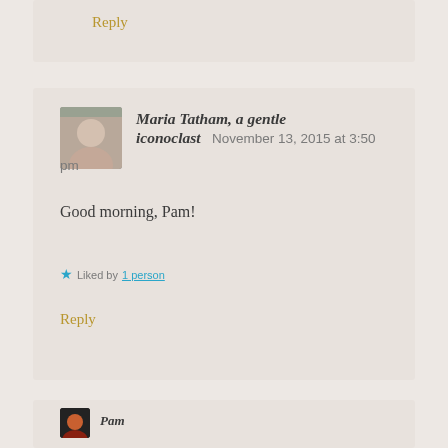Reply
Maria Tatham, a gentle iconoclast   November 13, 2015 at 3:50 pm
Good morning, Pam!
Liked by 1 person
Reply